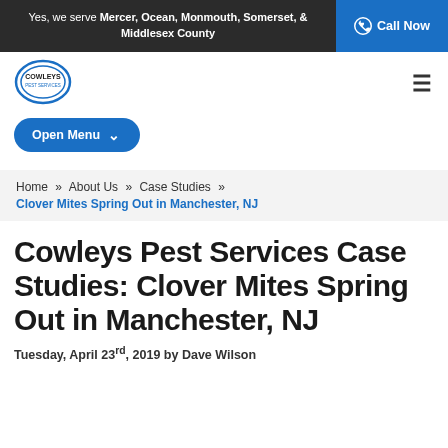Yes, we serve Mercer, Ocean, Monmouth, Somerset, & Middlesex County | Call Now
[Figure (logo): Cowleys Pest Services circular logo]
Open Menu
Home » About Us » Case Studies » Clover Mites Spring Out in Manchester, NJ
Cowleys Pest Services Case Studies: Clover Mites Spring Out in Manchester, NJ
Tuesday, April 23rd, 2019 by Dave Wilson